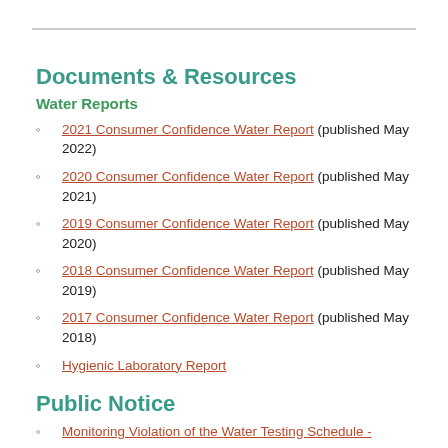Documents & Resources
Water Reports
2021 Consumer Confidence Water Report (published May 2022)
2020 Consumer Confidence Water Report (published May 2021)
2019 Consumer Confidence Water Report (published May 2020)
2018 Consumer Confidence Water Report (published May 2019)
2017 Consumer Confidence Water Report (published May 2018)
Hygienic Laboratory Report
Public Notice
Monitoring Violation of the Water Testing Schedule -